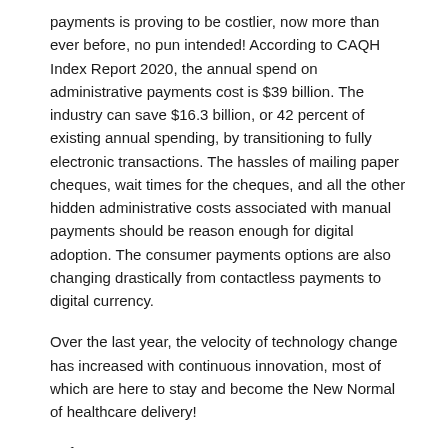payments is proving to be costlier, now more than ever before, no pun intended! According to CAQH Index Report 2020, the annual spend on administrative payments cost is $39 billion. The industry can save $16.3 billion, or 42 percent of existing annual spending, by transitioning to fully electronic transactions. The hassles of mailing paper cheques, wait times for the cheques, and all the other hidden administrative costs associated with manual payments should be reason enough for digital adoption. The consumer payments options are also changing drastically from contactless payments to digital currency.
Over the last year, the velocity of technology change has increased with continuous innovation, most of which are here to stay and become the New Normal of healthcare delivery!
References